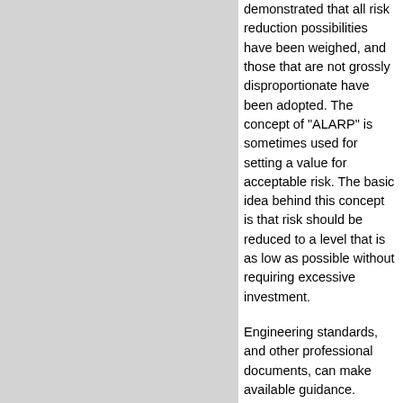demonstrated that all risk reduction possibilities have been weighed, and those that are not grossly disproportionate have been adopted. The concept of "ALARP" is sometimes used for setting a value for acceptable risk. The basic idea behind this concept is that risk should be reduced to a level that is as low as possible without requiring excessive investment.
Engineering standards, and other professional documents, can make available guidance. Nevertheless, at the close of the period, the manager has a risk-based decision to make. That decision denotes that the manager have in their mind certain value for the level of acceptable risk that they are agreeable to accept.
References:
1.